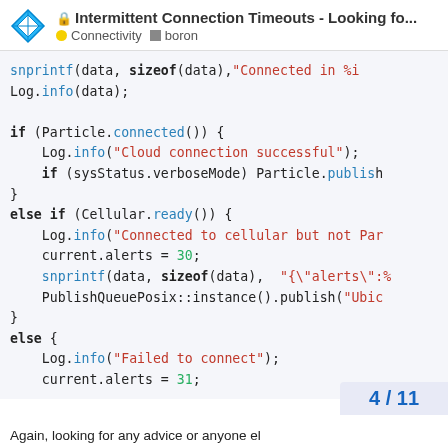🔒 Intermittent Connection Timeouts - Looking fo... | Connectivity | boron
[Figure (screenshot): Code snippet showing C++ embedded code with snprintf, Log.info, Particle.connected, Cellular.ready, PublishQueuePosix::instance().publish, and else blocks with alerts and log messages.]
4 / 11
Again, looking for any advice or anyone el